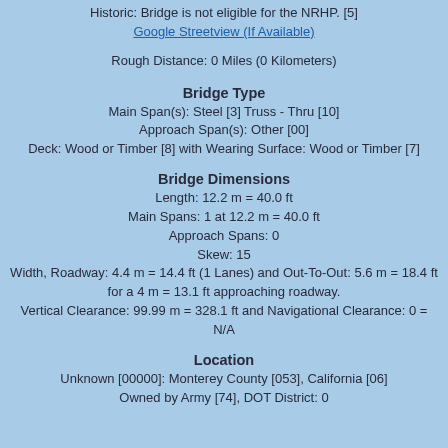Historic: Bridge is not eligible for the NRHP. [5]
Google Streetview (If Available)
Rough Distance: 0 Miles (0 Kilometers)
Bridge Type
Main Span(s): Steel [3] Truss - Thru [10]
Approach Span(s): Other [00]
Deck: Wood or Timber [8] with Wearing Surface: Wood or Timber [7]
Bridge Dimensions
Length: 12.2 m = 40.0 ft
Main Spans: 1 at 12.2 m = 40.0 ft
Approach Spans: 0
Skew: 15
Width, Roadway: 4.4 m = 14.4 ft (1 Lanes) and Out-To-Out: 5.6 m = 18.4 ft for a 4 m = 13.1 ft approaching roadway.
Vertical Clearance: 99.99 m = 328.1 ft and Navigational Clearance: 0 = N/A
Location
Unknown [00000]: Monterey County [053], California [06]
Owned by Army [74], DOT District: 0